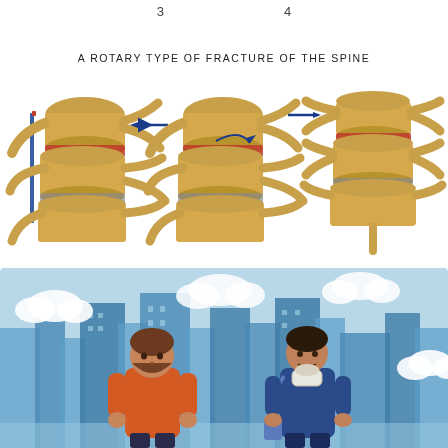3   4
A ROTARY TYPE OF FRACTURE OF THE SPINE
[Figure (illustration): Three anatomical illustrations of spinal vertebrae showing a rotary type fracture of the spine. Left image shows lateral view with blue arrow pointing left indicating force direction and red disc herniation. Middle image shows a rotational view with curved arrow showing rotational force. Right image shows frontal view with blue arrow pointing right.]
[Figure (illustration): Illustrated scene with light blue city background showing buildings and clouds. Two figures in foreground: left figure is a bearded man in orange shirt, right figure is a man in blue jacket wearing a cervical neck collar/brace with a bag over shoulder.]